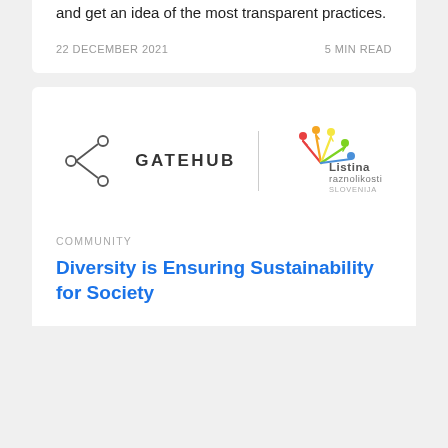and get an idea of the most transparent practices.
22 DECEMBER 2021   5 MIN READ
[Figure (logo): GateHub logo combined with Listina Raznolikosti Slovenija logo, separated by a vertical divider line]
COMMUNITY
Diversity is Ensuring Sustainability for Society